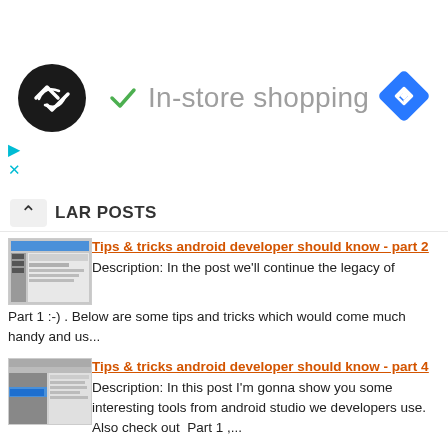[Figure (screenshot): Ad banner with circular logo, green checkmark, 'In-store shopping' text, and blue navigation diamond icon]
POPULAR POSTS
[Figure (screenshot): Thumbnail of Android Studio IDE screenshot]
Tips & tricks android developer should know - part 2
Description: In the post we'll continue the legacy of Part 1 :-) . Below are some tips and tricks which would come much handy and us...
[Figure (screenshot): Thumbnail of Android Studio IDE menu screenshot]
Tips & tricks android developer should know - part 4
Description: In this post I'm gonna show you some interesting tools from android studio we developers use. Also check out Part 1 ,....
[Figure (screenshot): Thumbnail of another screenshot]
Introduction to Internet of things platform